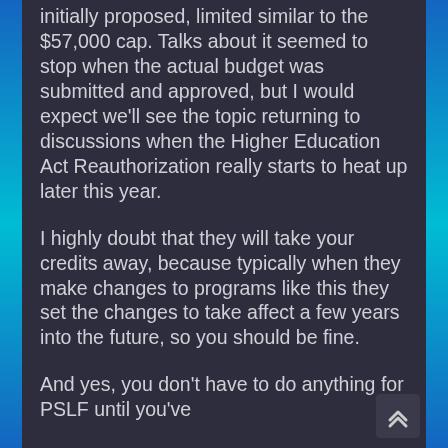initially proposed, limited similar to the $57,000 cap. Talks about it seemed to stop when the actual budget was submitted and approved, but I would expect we'll see the topic returning to discussions when the Higher Education Act Reauthorization really starts to heat up later this year.
I highly doubt that they will take your credits away, because typically when they make changes to programs like this they set the changes to take affect a few years into the future, so you should be fine.
And yes, you don't have to do anything for PSLF until you've